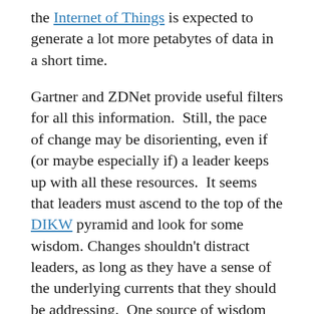the Internet of Things is expected to generate a lot more petabytes of data in a short time.
Gartner and ZDNet provide useful filters for all this information.  Still, the pace of change may be disorienting, even if (or maybe especially if) a leader keeps up with all these resources.  It seems that leaders must ascend to the top of the DIKW pyramid and look for some wisdom.  Changes shouldn't distract leaders, as long as they have a sense of the underlying currents that they should be addressing.  One source of wisdom comes from Weinberger's (2011) five strategies for dealing with networked knowledge.